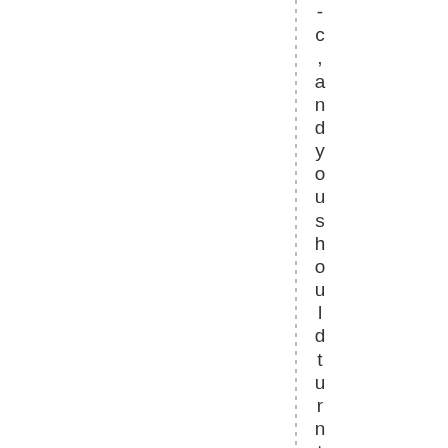-c ,and you should turn to them for an